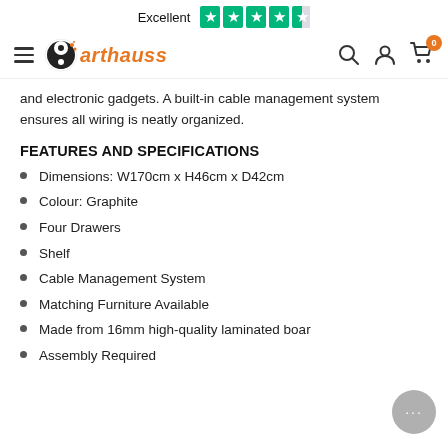Excellent ★★★★☆ — Trustpilot | arthauss navigation bar
and electronic gadgets. A built-in cable management system ensures all wiring is neatly organized.
FEATURES AND SPECIFICATIONS
Dimensions: W170cm x H46cm x D42cm
Colour: Graphite
Four Drawers
Shelf
Cable Management System
Matching Furniture Available
Made from 16mm high-quality laminated boar…
Assembly Required